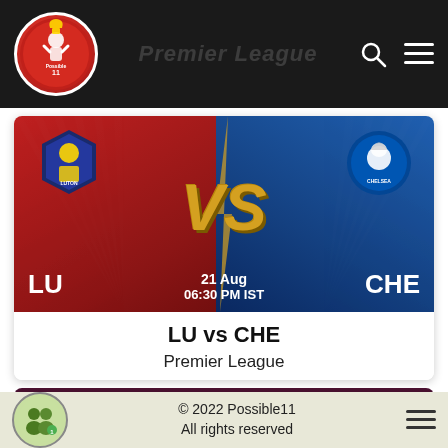Premier League — Possible11 logo, search icon, menu icon
[Figure (illustration): LU vs CHE match banner with red left side (LU badge, LU text) and blue right side (CHE badge, CHE text), gold VS in center, date 21 Aug 06:30 PM IST]
LU vs CHE
Premier League
[Figure (illustration): Ligue 1 match card header with dark maroon background, Ligue 1 title in white, badge top right, partial team logos below]
© 2022 Possible11
All rights reserved